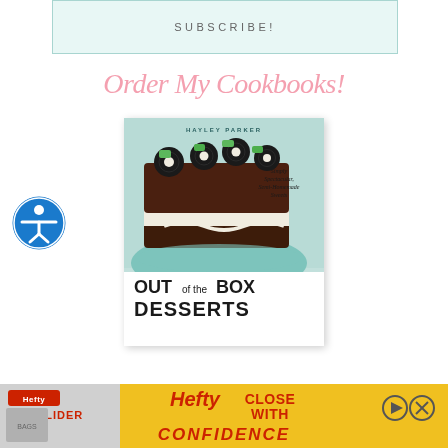SUBSCRIBE!
Order My Cookbooks!
[Figure (photo): Book cover of 'Out of the Box Desserts' by Hayley Parker. Shows a chocolate brownie cake topped with Oreo cookies and mint chips on a teal plate. Subtitle reads 'Simply Spectacular, Semi-Homemade Sweets'.]
[Figure (logo): Accessibility icon - circular blue icon with white figure and wheel symbol]
[Figure (photo): Hefty Slider Bags advertisement banner with red Hefty logo, yellow background, and text 'Close With Confidence']